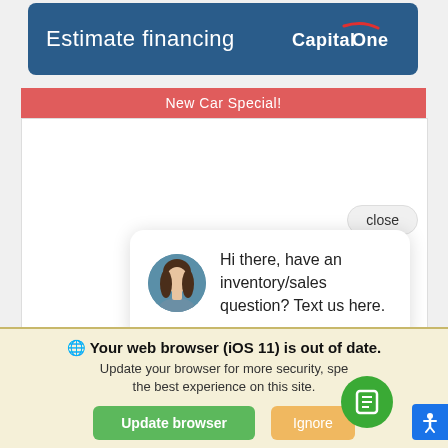[Figure (screenshot): Capital One Estimate financing banner — dark blue bar with 'Estimate financing' text and Capital One logo]
New Car Special!
[Figure (screenshot): White content area with close button and chat popup showing avatar and message: 'Hi there, have an inventory/sales question? Text us here.']
Your web browser (iOS 11) is out of date. Update your browser for more security, speed and the best experience on this site.